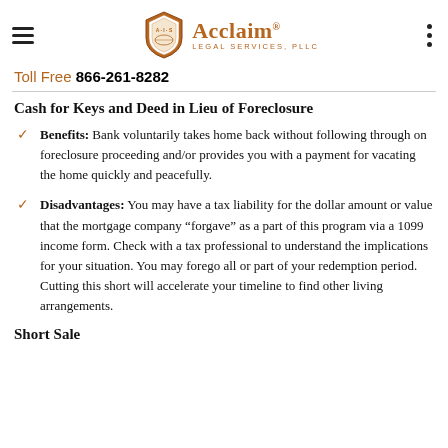Toll Free 866-261-8282
Cash for Keys and Deed in Lieu of Foreclosure
Benefits: Bank voluntarily takes home back without following through on foreclosure proceeding and/or provides you with a payment for vacating the home quickly and peacefully.
Disadvantages: You may have a tax liability for the dollar amount or value that the mortgage company “forgave” as a part of this program via a 1099 income form. Check with a tax professional to understand the implications for your situation. You may forego all or part of your redemption period. Cutting this short will accelerate your timeline to find other living arrangements.
Short Sale